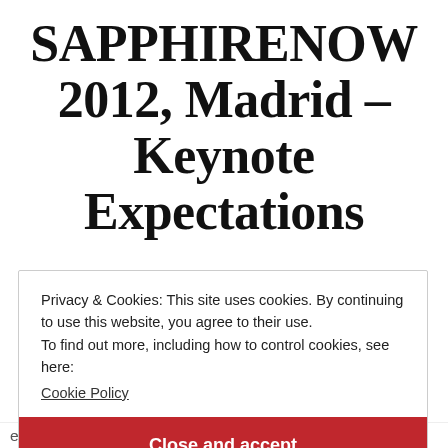SAPPHIRENOW 2012, Madrid – Keynote Expectations
Privacy & Cookies: This site uses cookies. By continuing to use this website, you agree to their use.
To find out more, including how to control cookies, see here:
Cookie Policy
Close and accept
event online as much as I can. My SD-OD friends will surely